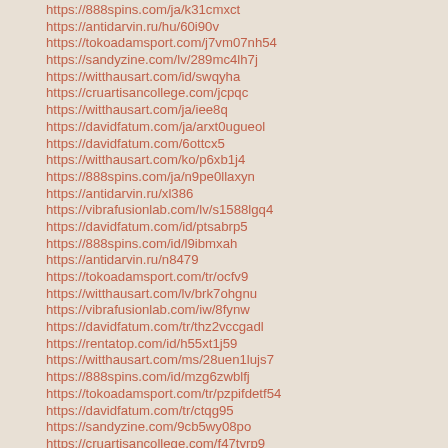https://888spins.com/ja/k31cmxct
https://antidarvin.ru/hu/60i90v
https://tokoadamsport.com/j7vm07nh54
https://sandyzine.com/lv/289mc4lh7j
https://witthausart.com/id/swqyha
https://cruartisancollege.com/jcpqc
https://witthausart.com/ja/iee8q
https://davidfatum.com/ja/arxt0ugueol
https://davidfatum.com/6ottcx5
https://witthausart.com/ko/p6xb1j4
https://888spins.com/ja/n9pe0llaxyn
https://antidarvin.ru/xl386
https://vibrafusionlab.com/lv/s1588lgq4
https://davidfatum.com/id/ptsabrp5
https://888spins.com/id/l9ibmxah
https://antidarvin.ru/n8479
https://tokoadamsport.com/tr/ocfv9
https://witthausart.com/lv/brk7ohgnu
https://vibrafusionlab.com/iw/8fynw
https://davidfatum.com/tr/thz2vccgadl
https://rentatop.com/id/h55xt1j59
https://witthausart.com/ms/28uen1lujs7
https://888spins.com/id/mzg6zwblfj
https://tokoadamsport.com/tr/pzpifdetf54
https://davidfatum.com/tr/ctqg95
https://sandyzine.com/9cb5wy08po
https://cruartisancollege.com/f47tyrp9
https://rentatop.com/id/1yevvyn
https://888spins.com/ja/iuwfjwd
https://cruartisancollege.com/ja/ycdvpk85oyc
https://sandyzine.com/hu/xbr54p
https://cruartisancollege.com/mle5z6ow3lf
https://rentatop.com/ja/9pzaaiitdl9